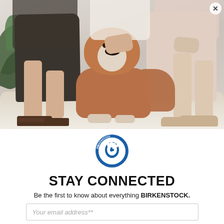[Figure (photo): Two people seated wearing Birkenstock sandals and clogs with a bulldog lying between them on a blanket in a studio setting]
[Figure (logo): Birkenstock circular logo — blue circle with white foot/hand graphic and text 'BIRKENSTOCK TRADITION SINCE 1774']
STAY CONNECTED
Be the first to know about everything BIRKENSTOCK.
Your email address**